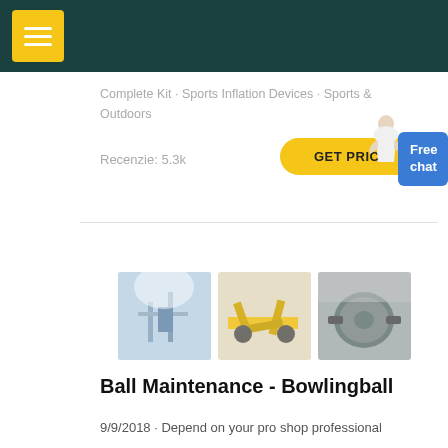Complete Kit · Sports Inflation Devices · Sports & Outdoors
Recenzie: 5.3k
GET PRICE
Free chat
[Figure (photo): Industrial machinery - mining/processing plant with dust cloud]
[Figure (photo): Industrial yellow machinery/equipment on site]
[Figure (photo): Large industrial ball mill in factory]
Ball Maintenance - Bowlingball
9/9/2018 · Depend on your pro shop professional